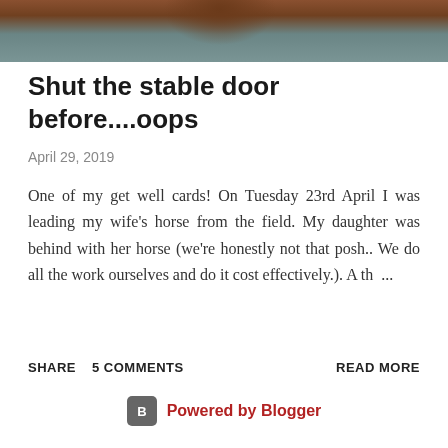[Figure (photo): Partial photo of a horse with reddish-brown coat against a blueish-grey background, cropped at the top of the page]
Shut the stable door before....oops
April 29, 2019
One of my get well cards! On Tuesday 23rd April I was leading my wife's horse from the field. My daughter was behind with her horse (we're honestly not that posh.. We do all the work ourselves and do it cost effectively.). A th ...
SHARE   5 COMMENTS   READ MORE
Powered by Blogger